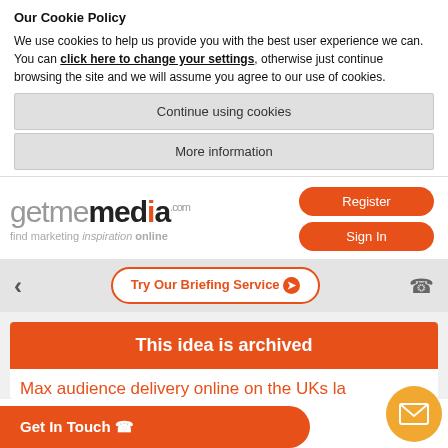Our Cookie Policy
We use cookies to help us provide you with the best user experience we can. You can click here to change your settings, otherwise just continue browsing the site and we will assume you agree to our use of cookies.
Continue using cookies
More information
[Figure (logo): getmemedia.com logo with tagline 'find marketing inspiration online', Register and Sign In buttons]
Try Our Briefing Service ❯
This idea is archived
Max audience delivery online on the UKs la...
Get In Touch